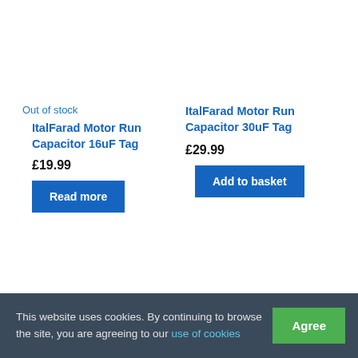Out of stock
ItalFarad Motor Run Capacitor 16uF Tag
£19.99
Read more
ItalFarad Motor Run Capacitor 30uF Tag
£29.99
Add to basket
This website uses cookies. By continuing to browse the site, you are agreeing to our use of cookies